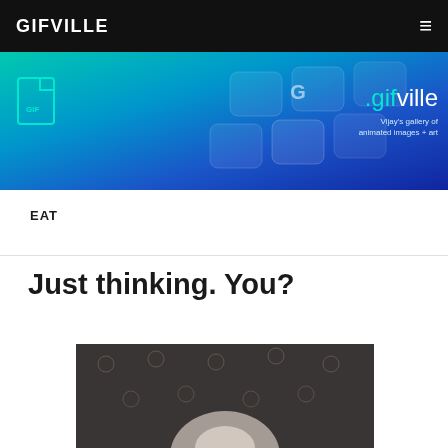GIFVILLE
[Figure (illustration): Website banner for .gifville showing a keyboard background with teal-to-blue gradient, a GIF file icon on the left, and the text '.gifville' with tagline 'Vijay's gallery of animated images + art' on the right.]
EAT
Just thinking. You?
[Figure (photo): Partial image of what appears to be a person or figure against a dark background with small circular emoji-like patterns.]